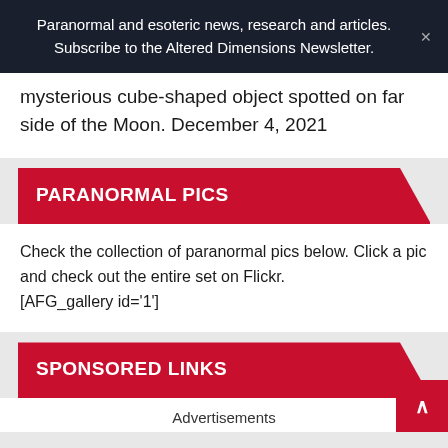Paranormal and esoteric news, research and articles. Subscribe to the Altered Dimensions Newsletter.
mysterious cube-shaped object spotted on far side of the Moon. December 4, 2021
PARANORMAL PICS
Check the collection of paranormal pics below. Click a pic and check out the entire set on Flickr.
[AFG_gallery id='1']
SPONSORED LINKS
Advertisements